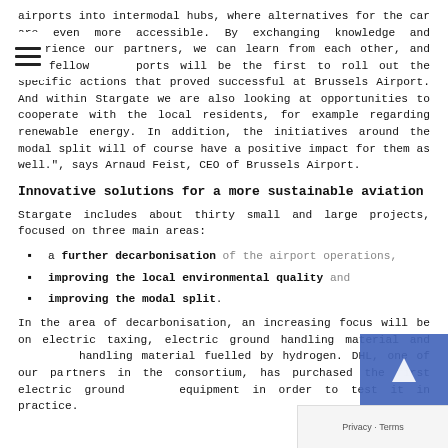airports into intermodal hubs, where alternatives for the car are even more accessible. By exchanging knowledge and experience our partners, we can learn from each other, and our fellow ports will be the first to roll out the specific actions that proved successful at Brussels Airport. And within Stargate we are also looking at opportunities to cooperate with the local residents, for example regarding renewable energy. In addition, the initiatives around the modal split will of course have a positive impact for them as well.", says Arnaud Feist, CEO of Brussels Airport.
Innovative solutions for a more sustainable aviation
Stargate includes about thirty small and large projects, focused on three main areas:
a further decarbonisation of the airport operations,
improving the local environmental quality and
improving the modal split.
In the area of decarbonisation, an increasing focus will be on electric taxing, electric ground handling material and handling material fuelled by hydrogen. DHL, one of our partners in the consortium, has purchased the first electric ground equipment in order to test it in practice.